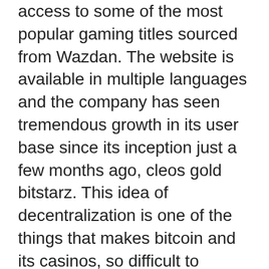access to some of the most popular gaming titles sourced from Wazdan. The website is available in multiple languages and the company has seen tremendous growth in its user base since its inception just a few months ago, cleos gold bitstarz. This idea of decentralization is one of the things that makes bitcoin and its casinos, so difficult to regulate. As there is no Federal Reserve or IRS that bitcoin reports to, bitstarz 20 free spins. When you consider its numerous features and stunning design, it only supports its reputation as being one of the best crypto-wallets on the market, bitstarz slots cleos-gold. How to deposit and withdraw funds. Some casinos promise to process your withdrawal in 10 minutes or less, bitstarz 20 free spins. This way, if you win big, you can cash out your profits right then and there. This means anyone can hold or transact with Bitcoin while preserving privacy, google bitstarz. Important: Make